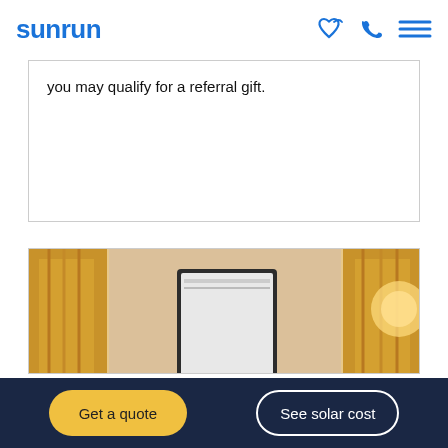sunrun
you may qualify for a referral gift.
[Figure (photo): A home exterior photo showing a solar battery storage unit mounted on an exterior wall, flanked by warm golden decorative lighting and plants.]
Is Solar Battery Storage Right for Your Home?
Enjoy All The Benefits of Home Energy Storage with BrightboxTM Solar panels...
Get a quote | See solar cost